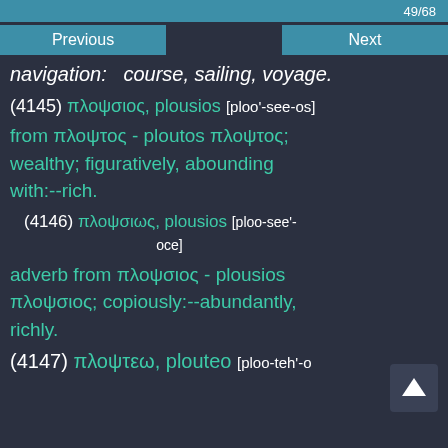49/68
Previous    Next
navigation:— course, sailing, voyage.
(4145) πλοψσιος, plousios [ploo'-see-os]
from πλοψτος - ploutos πλοψτος; wealthy; figuratively, abounding with:--rich.
(4146) πλοψσιως, plousios [ploo-see'-oce]
adverb from πλοψσιος - plousios πλοψσιος; copiously:--abundantly, richly.
(4147) πλοψτεω, plouteo [ploo-teh'-o]